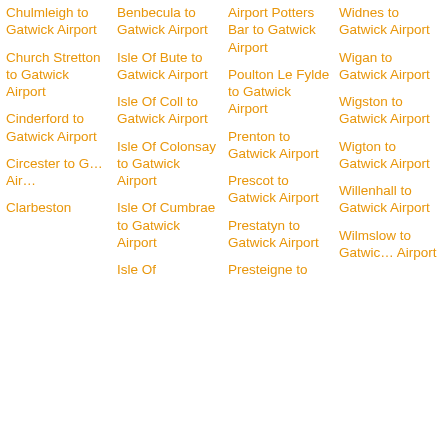Chulmleigh to Gatwick Airport
Church Stretton to Gatwick Airport
Cinderford to Gatwick Airport
Cirencester to Gatwick Airport
Clarbeston to Gatwick Airport
Benbecula to Gatwick Airport
Isle Of Bute to Gatwick Airport
Isle Of Coll to Gatwick Airport
Isle Of Colonsay to Gatwick Airport
Isle Of Cumbrae to Gatwick Airport
Isle Of
Airport Potters Bar to Gatwick Airport
Poulton Le Fylde to Gatwick Airport
Prenton to Gatwick Airport
Prescot to Gatwick Airport
Prestatyn to Gatwick Airport
Presteigne to
Widnes to Gatwick Airport
Wigan to Gatwick Airport
Wigston to Gatwick Airport
Wigton to Gatwick Airport
Willenhall to Gatwick Airport
Wilmslow to Gatwick Airport
Airport